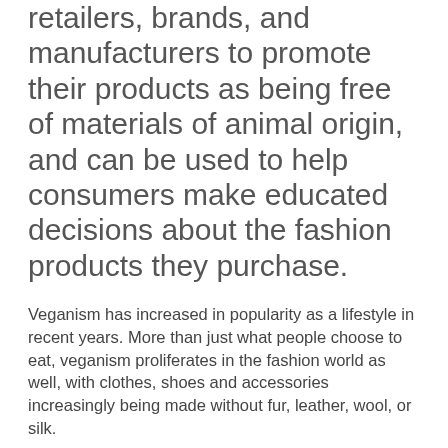retailers, brands, and manufacturers to promote their products as being free of materials of animal origin, and can be used to help consumers make educated decisions about the fashion products they purchase.
Veganism has increased in popularity as a lifestyle in recent years. More than just what people choose to eat, veganism proliferates in the fashion world as well, with clothes, shoes and accessories increasingly being made without fur, leather, wool, or silk.
It can be difficult to verify a vegan product claim as the product's primary materials may not be of animal origin, yet contain additives such as glues and dyes which are derived from animals or animal by-products (e.g. beeswax) and not considered vegan. Some of the vegan mark programs in the market are backed up by supplier declarations only. To